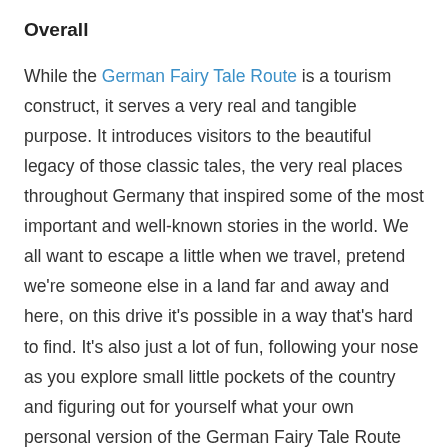Overall
While the German Fairy Tale Route is a tourism construct, it serves a very real and tangible purpose. It introduces visitors to the beautiful legacy of those classic tales, the very real places throughout Germany that inspired some of the most important and well-known stories in the world. We all want to escape a little when we travel, pretend we're someone else in a land far and away and here, on this drive it's possible in a way that's hard to find. It's also just a lot of fun, following your nose as you explore small little pockets of the country and figuring out for yourself what your own personal version of the German Fairy Tale Route looks